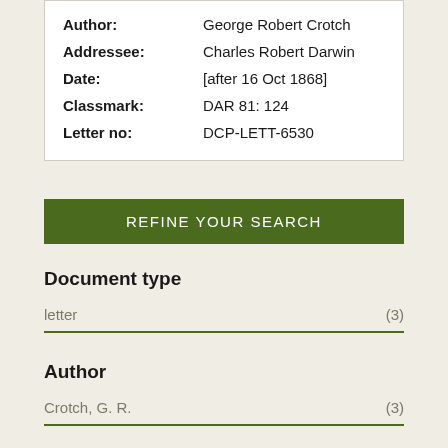| Author: | George Robert Crotch |
| Addressee: | Charles Robert Darwin |
| Date: | [after 16 Oct 1868] |
| Classmark: | DAR 81: 124 |
| Letter no: | DCP-LETT-6530 |
REFINE YOUR SEARCH
Document type
letter (3)
Author
Crotch, G. R. (3)